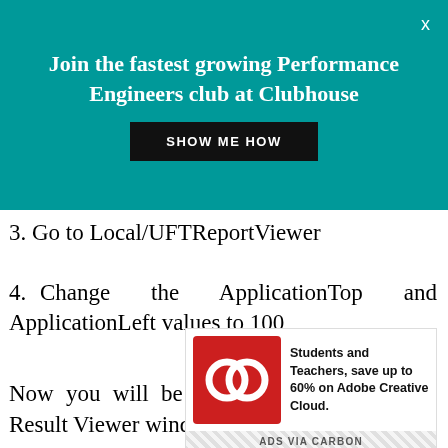[Figure (infographic): Teal promotional banner: 'Join the fastest growing Performance Engineers club at Clubhouse' with a 'SHOW ME HOW' button and close X]
3. Go to Local/UFTReportViewer
4. Change the ApplicationTop and ApplicationLeft values to 100
Now you will be able to see the HP Run Result Viewer window.
[Figure (infographic): Adobe Creative Cloud advertisement: red logo icon and text 'Students and Teachers, save up to 60% on Adobe Creative Cloud.' with 'ADS VIA CARBON' footer]